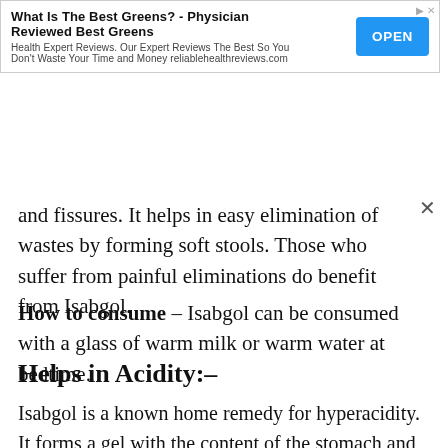[Figure (screenshot): Advertisement banner: 'What Is The Best Greens? - Physician Reviewed Best Greens' with OPEN button. Health Expert Reviews text and reliablehealthreviews.com URL.]
and fissures. It helps in easy elimination of wastes by forming soft stools. Those who suffer from painful eliminations do benefit from Isabgol.
How to consume – Isabgol can be consumed with a glass of warm milk or warm water at bedtime.
Helps in Acidity:–
Isabgol is a known home remedy for hyperacidity. It forms a gel with the content of the stomach and protects the stomach lining by controlling the secretion of stomach acids and digestive juices.